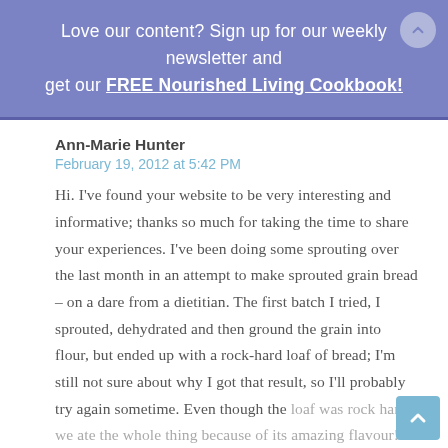Love our content? Sign up for our weekly newsletter and get our FREE Nourished Living Cookbook!
Ann-Marie Hunter
February 19, 2012 at 5:42 PM
Hi. I've found your website to be very interesting and informative; thanks so much for taking the time to share your experiences. I've been doing some sprouting over the last month in an attempt to make sprouted grain bread – on a dare from a dietitian. The first batch I tried, I sprouted, dehydrated and then ground the grain into flour, but ended up with a rock-hard loaf of bread; I'm still not sure about why I got that result, so I'll probably try again sometime. Even though the loaf was rock hard, we ate the whole thing because of its amazing flavour! Since then, I've